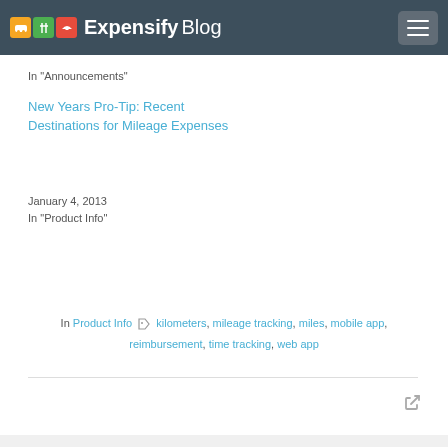Expensify Blog
In "Announcements"
New Years Pro-Tip: Recent Destinations for Mileage Expenses
January 4, 2013
In "Product Info"
In Product Info  kilometers, mileage tracking, miles, mobile app, reimbursement, time tracking, web app
5 responses to Kilometre/Time Support: A Long Time (and Distance) Coming